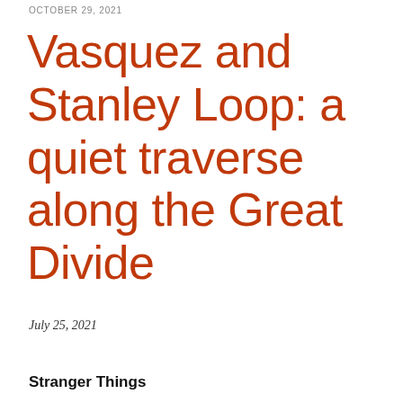OCTOBER 29, 2021
Vasquez and Stanley Loop: a quiet traverse along the Great Divide
July 25, 2021
Stranger Things